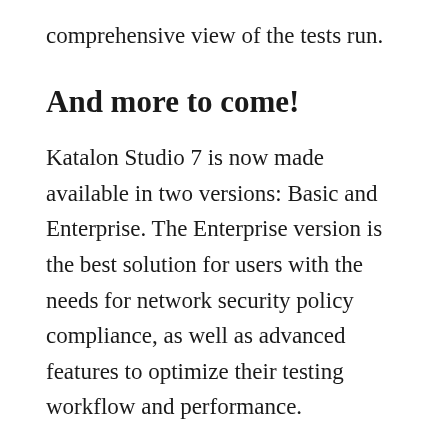comprehensive view of the tests run.
And more to come!
Katalon Studio 7 is now made available in two versions: Basic and Enterprise. The Enterprise version is the best solution for users with the needs for network security policy compliance, as well as advanced features to optimize their testing workflow and performance.